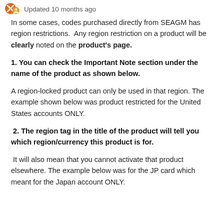Updated 10 months ago
In some cases, codes purchased directly from SEAGM has region restrictions.  Any region restriction on a product will be clearly noted on the product's page.
1. You can check the Important Note section under the name of the product as shown below.
A region-locked product can only be used in that region. The example shown below was product restricted for the United States accounts ONLY.
2. The region tag in the title of the product will tell you which region/currency this product is for.
It will also mean that you cannot activate that product elsewhere. The example below was for the JP card which meant for the Japan account ONLY.